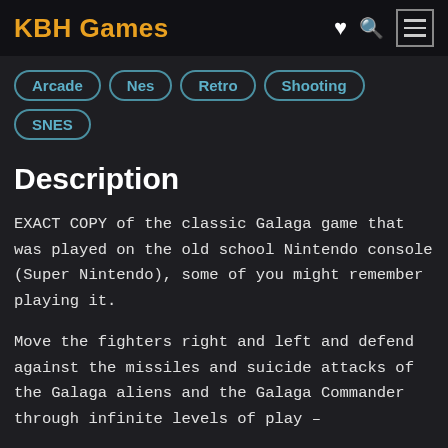KBH Games
Arcade
Nes
Retro
Shooting
SNES
Description
EXACT COPY of the classic Galaga game that was played on the old school Nintendo console (Super Nintendo), some of you might remember playing it.
Move the fighters right and left and defend against the missiles and suicide attacks of the Galaga aliens and the Galaga Commander through infinite levels of play –